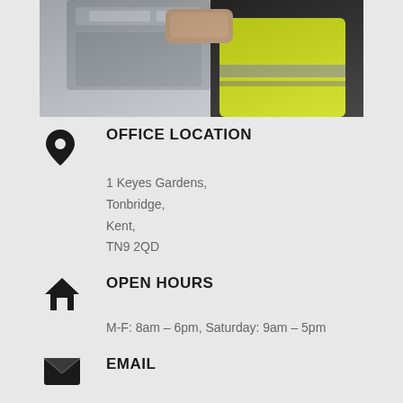[Figure (photo): Worker in high-visibility yellow vest installing or adjusting a grey metallic box on a wall, viewed from below]
OFFICE LOCATION
1 Keyes Gardens,
Tonbridge,
Kent,
TN9 2QD
OPEN HOURS
M-F: 8am – 6pm, Saturday: 9am – 5pm
EMAIL